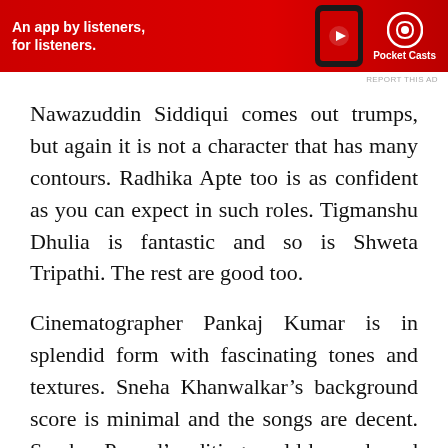[Figure (other): Pocket Casts advertisement banner with red background, app text 'An app by listeners, for listeners.' and Pocket Casts logo]
REPORT THIS AD
Nawazuddin Siddiqui comes out trumps, but again it is not a character that has many contours. Radhika Apte too is as confident as you can expect in such roles. Tigmanshu Dhulia is fantastic and so is Shweta Tripathi. The rest are good too.
Cinematographer Pankaj Kumar is in splendid form with fascinating tones and textures. Sneha Khanwalkar's background score is minimal and the songs are decent. Sreekar Prasad's editing could have shaved a few minutes off. Dialogues